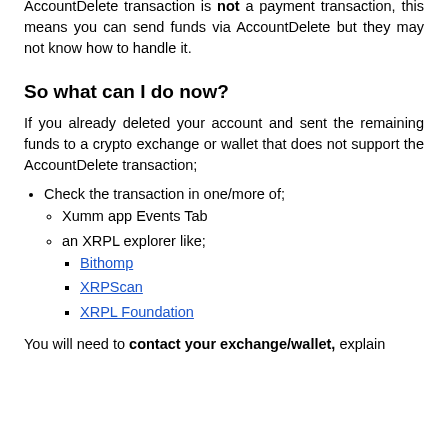AccountDelete transaction is not a payment transaction, this means you can send funds via AccountDelete but they may not know how to handle it.
So what can I do now?
If you already deleted your account and sent the remaining funds to a crypto exchange or wallet that does not support the AccountDelete transaction;
Check the transaction in one/more of;
Xumm app Events Tab
an XRPL explorer like;
Bithomp
XRPScan
XRPL Foundation
You will need to contact your exchange/wallet, explain